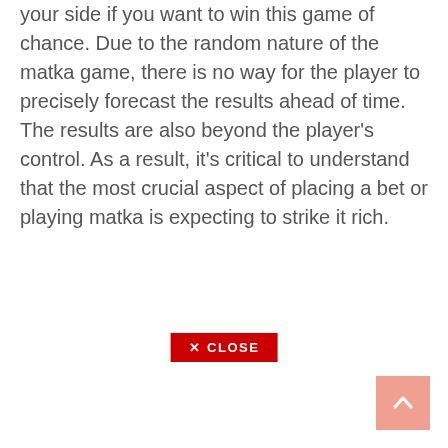your side if you want to win this game of chance. Due to the random nature of the matka game, there is no way for the player to precisely forecast the results ahead of time. The results are also beyond the player's control. As a result, it's critical to understand that the most crucial aspect of placing a bet or playing matka is expecting to strike it rich.
[Figure (other): A red close button with an X icon and the text CLOSE]
[Figure (other): A salmon/pink colored scroll-to-top button with an upward chevron arrow icon, positioned at bottom right]